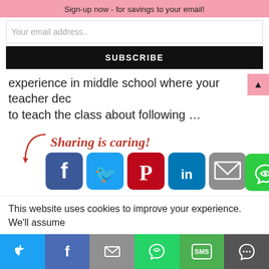Sign-up now - for savings to your email!
Your email address..
SUBSCRIBE
experience in middle school where your teacher dec to teach the class about following ...
[Figure (infographic): Sharing is caring! text with social media share buttons: Facebook, Twitter, Pinterest, LinkedIn, Email, More]
READ MORE
This website uses cookies to improve your experience. We'll assume
[Figure (infographic): Bottom social share bar with Twitter, Facebook, Email, WhatsApp, SMS, More icons]